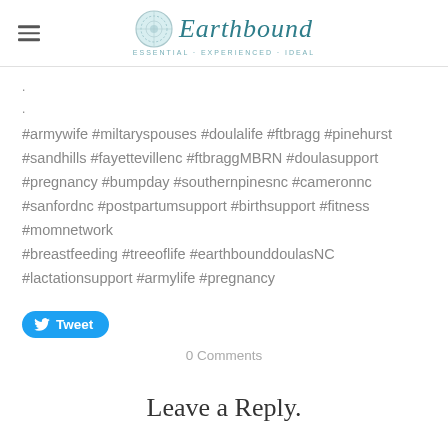Earthbound ESSENTIAL · EXPERIENCED · IDEAL
.
.
#armywife #miltaryspouses #doulalife #ftbragg #pinehurst #sandhills #fayettevillenc #ftbraggMBRN #doulasupport #pregnancy #bumpday #southernpinesnc #cameronnc #sanfordnc #postpartumsupport #birthsupport #fitness #momnetwork #breastfeeding #treeoflife #earthbounddoulasNC #lactationsupport #armylife #pregnancy
Tweet
0 Comments
Leave a Reply.